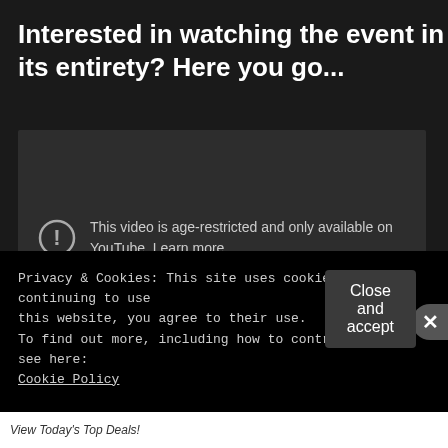Interested in watching the event in its entirety? Here you go...
[Figure (screenshot): Embedded YouTube video player showing an age-restricted video warning. A warning icon (circle with exclamation mark) appears next to the text: 'This video is age-restricted and only available on YouTube. Learn more' and a 'Watch on YouTube' link below.]
Privacy & Cookies: This site uses cookies. By continuing to use this website, you agree to their use.
To find out more, including how to control cookies, see here:
Cookie Policy
Close and accept